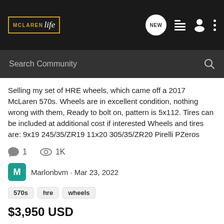McLaren Life — navigation bar with logo, NEW button, list icon, user icon, menu dots
Search Community
Selling my set of HRE wheels, which came off a 2017 McLaren 570s. Wheels are in excellent condition, nothing wrong with them, Ready to bolt on, pattern is 5x112. Tires can be included at additional cost if interested Wheels and tires are: 9x19 245/35/ZR19 11x20 305/35/ZR20 Pirelli PZeros
1  1K
Marlonbvm · Mar 23, 2022
570s
hre
wheels
$3,950 USD
[Figure (photo): Image placeholder with camera icon on light gray background]